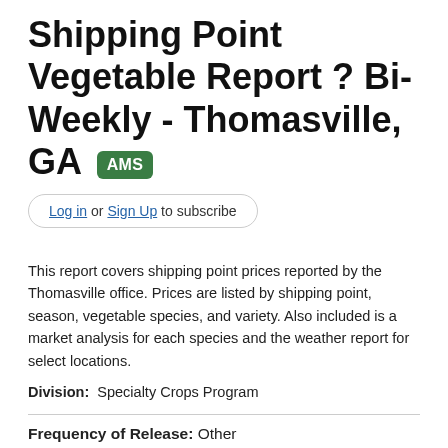Shipping Point Vegetable Report ? Bi-Weekly - Thomasville, GA AMS
Log in or Sign Up to subscribe
This report covers shipping point prices reported by the Thomasville office. Prices are listed by shipping point, season, vegetable species, and variety. Also included is a market analysis for each species and the weather report for select locations.
Division: Specialty Crops Program
Frequency of Release: Other
Category: Crops and Crop Products:Vegetables and Pulses, Agriculture Economics and Management:Weather